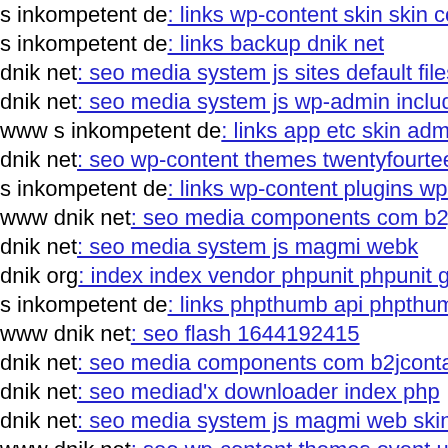s inkompetent de: links wp-content skin skin components s…
s inkompetent de: links backup dnik net
dnik net: seo media system js sites default files administrat…
dnik net: seo media system js wp-admin includes wp-inclu…
www s inkompetent de: links app etc skin administrator ad…
dnik net: seo wp-content themes twentyfourteen timthumb…
s inkompetent de: links wp-content plugins wp-mobile-det…
www dnik net: seo media components com b2jcontact wp-…
dnik net: seo media system js magmi webk
dnik org: index index vendor phpunit phpunit git head
s inkompetent de: links phpthumb api phpthumb phpthumb…
www dnik net: seo flash 1644192415
dnik net: seo media components com b2jcontact uhuy
dnik net: seo mediad'x downloader index php
dnik net: seo media system js magmi web skin media syste…
www dnik net: seo wp-content themes event uploads dnik…
dnik net: seo media system js wp-content themes magazine…
www dnik net: seo media system js magmi web insom php…
dnik net: seo wp-content themes twentyfourteen core comp…
dnik net: seo wp-content themes administration tmp media…
dnik net: seo media system js wp-admin includes plugins…